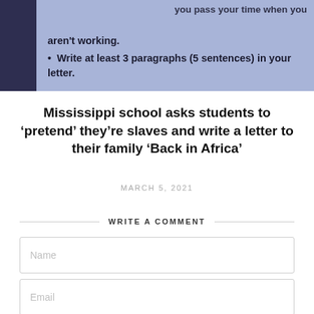[Figure (photo): Photo of a projected classroom assignment slide with text about not working and writing at least 3 paragraphs (5 sentences) in a letter]
Mississippi school asks students to ‘pretend’ they’re slaves and write a letter to their family ‘Back in Africa’
MARCH 5, 2021
WRITE A COMMENT
Name
Email
Website
Enter your comment here...